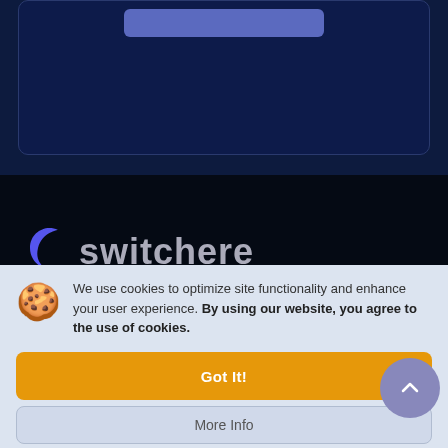[Figure (screenshot): Dark navy blue background with a rounded card element at top containing a purple/blue button]
[Figure (logo): Switchere logo with purple curved icon and light gray 'switchere' wordmark on black background]
We use cookies to optimize site functionality and enhance your user experience. By using our website, you agree to the use of cookies.
Got It!
More Info